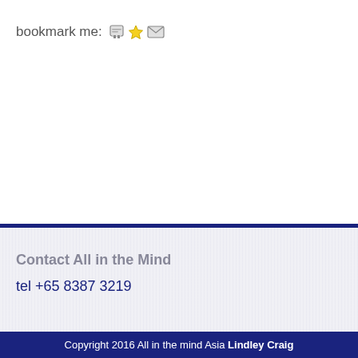bookmark me: [print icon] [star icon] [email icon]
Contact All in the Mind
tel +65 8387 3219
Copyright 2016 All in the mind Asia Lindley Craig